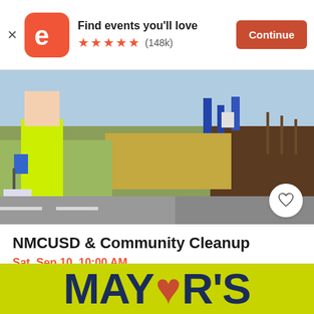Find events you'll love ★★★★★ (148k) Continue
[Figure (photo): Volunteers in yellow vests doing roadside cleanup, picking up litter along a grassy area]
NMCUSD & Community Cleanup
Sat, Sep 10, 10:00 AM
13990 Castroville Blvd • Castroville, CA
Free
[Figure (photo): Mayor's banner with yellow-green background and large dark blue text reading MAYOR'S with a red heart replacing the O]